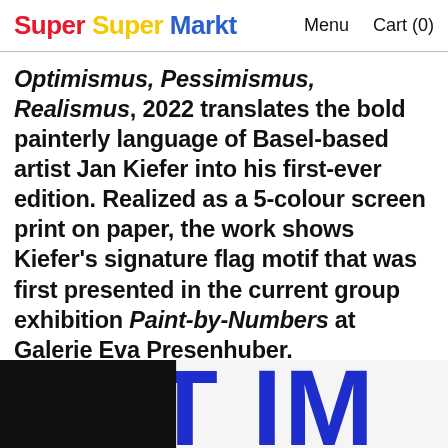Super Super Markt   Menu   Cart (0)
Optimismus, Pessimismus, Realismus, 2022 translates the bold painterly language of Basel-based artist Jan Kiefer into his first-ever edition. Realized as a 5-colour screen print on paper, the work shows Kiefer’s signature flag motif that was first presented in the current group exhibition Paint-by-Numbers at Galerie Eva Presenhuber.
[Figure (photo): Partial view of large bold typographic artwork with blue and black letters, cropped at bottom of page, showing fragments of the word Optimismus in large display type.]